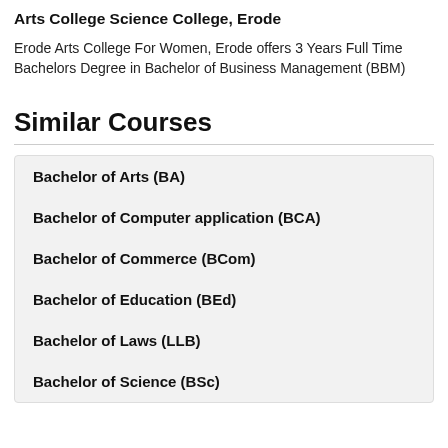Arts College Science College, Erode
Erode Arts College For Women, Erode offers 3 Years Full Time Bachelors Degree in Bachelor of Business Management (BBM)
Similar Courses
Bachelor of Arts (BA)
Bachelor of Computer application (BCA)
Bachelor of Commerce (BCom)
Bachelor of Education (BEd)
Bachelor of Laws (LLB)
Bachelor of Science (BSc)